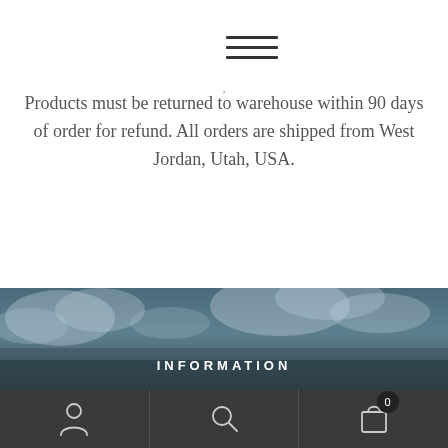[Figure (illustration): Hamburger menu icon with three horizontal lines]
Products must be returned to warehouse within 90 days of order for refund. All orders are shipped from West Jordan, Utah, USA.
[Figure (photo): Sky with clouds, blue-grey tones, background image for footer section]
INFORMATION
[Figure (illustration): Bottom navigation bar with three icons: user/person icon, search/magnifying glass icon, and shopping bag icon with badge showing 0]